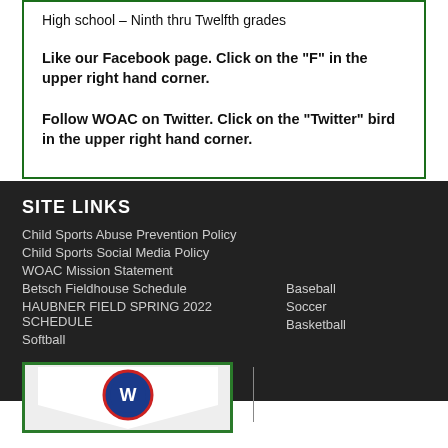High school – Ninth thru Twelfth grades
Like our Facebook page.  Click on the "F" in the upper right hand corner.
Follow WOAC on Twitter.  Click on the "Twitter" bird in the upper right hand corner.
SITE LINKS
Child Sports Abuse Prevention Policy
Child Sports Social Media Policy
WOAC Mission Statement
Betsch Fieldhouse Schedule
Baseball
HAUBNER FIELD SPRING 2022 SCHEDULE
Soccer
Softball
Basketball
[Figure (logo): WOAC logo with shield shape and circular emblem]